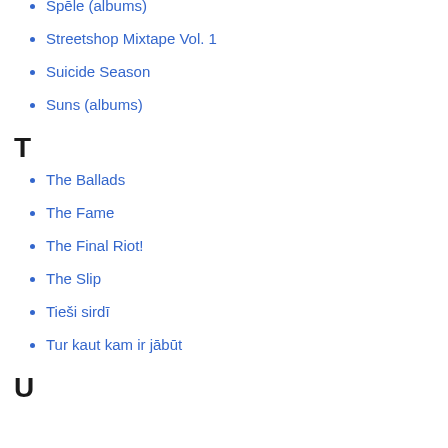Sirdspuksti (albums)
Spēle (albums)
Streetshop Mixtape Vol. 1
Suicide Season
Suns (albums)
T
The Ballads
The Fame
The Final Riot!
The Slip
Tieši sirdī
Tur kaut kam ir jābūt
U